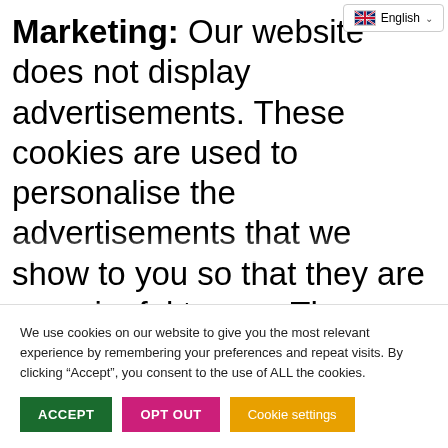Marketing: Our website does not display advertisements. These cookies are used to personalise the advertisements that we show to you so that they are meaningful to you. These cookies also help us keep track of the efficiency of these ad campaigns. The information stored in these cookies may also
We use cookies on our website to give you the most relevant experience by remembering your preferences and repeat visits. By clicking “Accept”, you consent to the use of ALL the cookies.